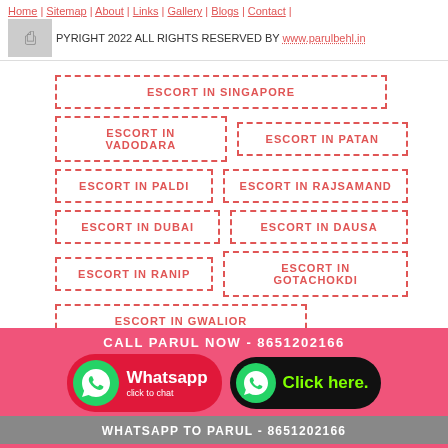Home | Sitemap | About | Links | Gallery | Blogs | Contact | COPYRIGHT 2022 ALL RIGHTS RESERVED BY www.parulbehl.in
ESCORT IN SINGAPORE
ESCORT IN VADODARA
ESCORT IN PATAN
ESCORT IN PALDI
ESCORT IN RAJSAMAND
ESCORT IN DUBAI
ESCORT IN DAUSA
ESCORT IN RANIP
ESCORT IN GOTACHOKDI
ESCORT IN GWALIOR
CALL PARUL NOW - 8651202166 | WHATSAPP TO PARUL - 8651202166